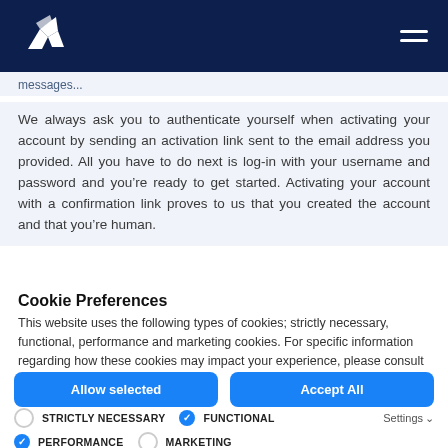Navigation bar with logo and hamburger menu
messages...
We always ask you to authenticate yourself when activating your account by sending an activation link sent to the email address you provided. All you have to do next is log-in with your username and password and you’re ready to get started. Activating your account with a confirmation link proves to us that you created the account and that you’re human.
Cookie Preferences
This website uses the following types of cookies; strictly necessary, functional, performance and marketing cookies. For specific information regarding how these cookies may impact your experience, please consult the details below.
Allow selected | Accept All
STRICTLY NECESSARY  FUNCTIONAL  PERFORMANCE  MARKETING  Settings